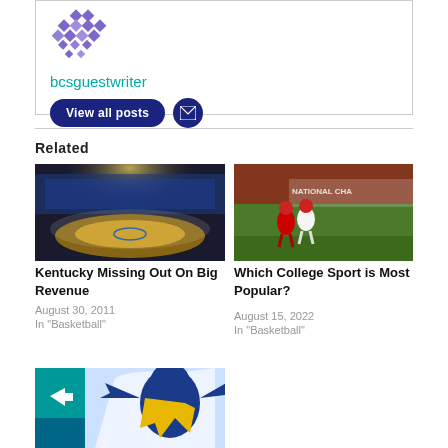[Figure (illustration): Author box with diamond/checkerboard logo pattern in purple, username 'bcsguestwriter' in teal, 'View all posts' dark blue rounded button, and dark blue email icon button]
Related
[Figure (photo): Basketball arena aerial view with packed crowd and hardwood court visible, Kentucky basketball arena]
Kentucky Missing Out On Big Revenue
August 30, 2011
In "Basketball"
[Figure (photo): Football players running on field during college championship game, Alabama vs Georgia players visible]
Which College Sport is Most Popular?
August 15, 2022
In "Basketball"
[Figure (illustration): Blue and gold animal mascot illustration, partial view, with teal share button overlay]